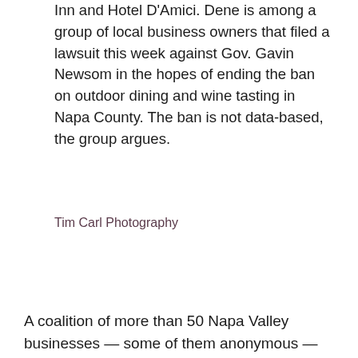Inn and Hotel D'Amici. Dene is among a group of local business owners that filed a lawsuit this week against Gov. Gavin Newsom in the hopes of ending the ban on outdoor dining and wine tasting in Napa County. The ban is not data-based, the group argues.
Tim Carl Photography
A coalition of more than 50 Napa Valley businesses — some of them anonymous — have sued Gov.